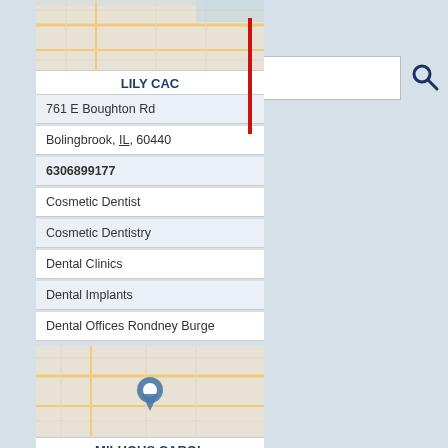[Figure (map): Map thumbnail showing street grid for Lily Cac location in Bolingbrook IL]
LILY CAC
761 E Boughton Rd
Bolingbrook, IL, 60440
6306899177
Cosmetic Dentist
Cosmetic Dentistry
Dental Clinics
Dental Implants
Dental Offices Rondney Burge
[Figure (map): Map thumbnail showing street grid with location pin for Milhous Carol in Bolingbrook IL]
MILHOUS CAROL
391 Quadrangle Dr # S5
Bolingbrook, IL, 60440
6307594400
Dental Clinics
Dental Office
Dental Offices